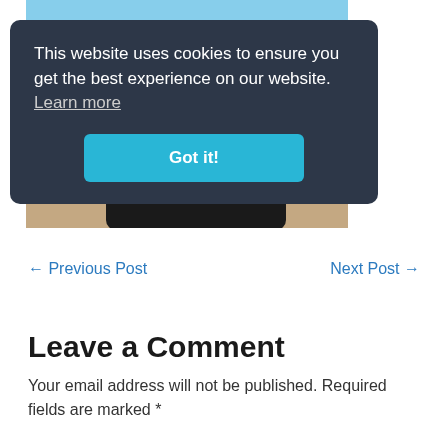[Figure (photo): Photo of a horse (dark coat with white-striped legs), partially visible, standing on sandy/dirt ground. Blue sky visible at top.]
This website uses cookies to ensure you get the best experience on our website. Learn more
Got it!
← Previous Post
Next Post →
Leave a Comment
Your email address will not be published. Required fields are marked *